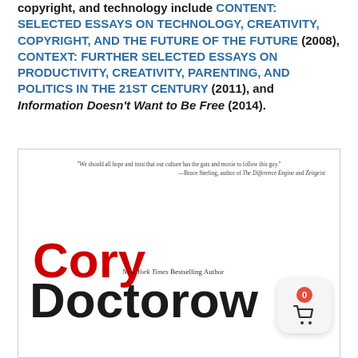copyright, and technology include CONTENT: SELECTED ESSAYS ON TECHNOLOGY, CREATIVITY, COPYRIGHT, AND THE FUTURE OF THE FUTURE (2008), CONTEXT: FURTHER SELECTED ESSAYS ON PRODUCTIVITY, CREATIVITY, PARENTING, AND POLITICS IN THE 21ST CENTURY (2011), and Information Doesn't Want to Be Free (2014).
[Figure (photo): Book cover for a Cory Doctorow title. Shows a quote from Bruce Sterling at top: 'We should all hope and trust that our culture has the guts and moxie to follow this guy.' — Bruce Sterling, author of The Difference Engine and Zeitgeist. Below is 'Cory' in large red text, then 'New York Times Bestselling Author', then 'Doctorow' in large black text. A shopping cart badge with '0' is overlaid in the bottom right corner.]